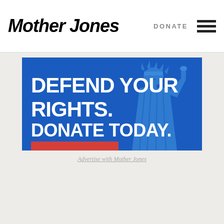Mother Jones | DONATE
[Figure (illustration): Mother Jones donation advertisement banner with blue background, Statue of Liberty illustration, text 'DEFEND YOUR RIGHTS. DONATE TODAY.' and red 'MATCH MY GIFT' button]
Advertise with Mother Jones